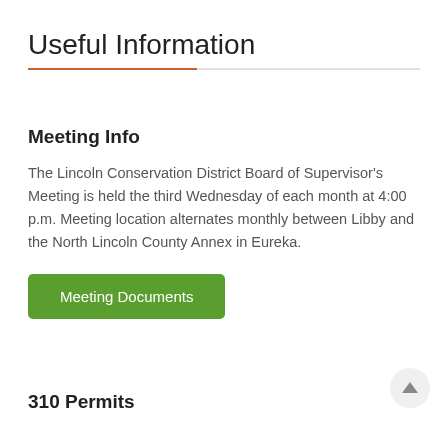Useful Information
Meeting Info
The Lincoln Conservation District Board of Supervisor's Meeting is held the third Wednesday of each month at 4:00 p.m. Meeting location alternates monthly between Libby and the North Lincoln County Annex in Eureka.
Meeting Documents
310 Permits